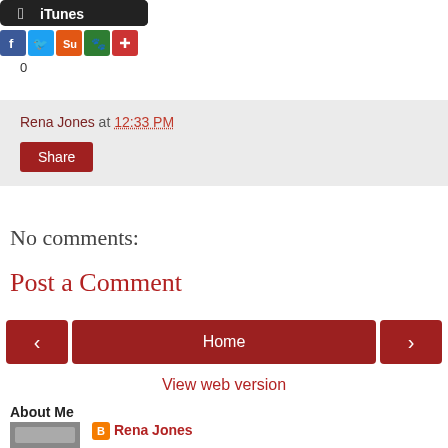[Figure (logo): iTunes logo button — black rounded rectangle with Apple logo and 'iTunes' text in white]
[Figure (infographic): Row of social sharing icons: Facebook (blue), Twitter (light blue), StumbleUpon (orange), another icon (green), and a red plus/more icon]
0
Rena Jones at 12:33 PM
Share
No comments:
Post a Comment
[Figure (infographic): Navigation buttons: left arrow button (red), Home button (red, center), right arrow button (red)]
View web version
About Me
[Figure (photo): Small thumbnail photo]
Rena Jones
View my complete profile